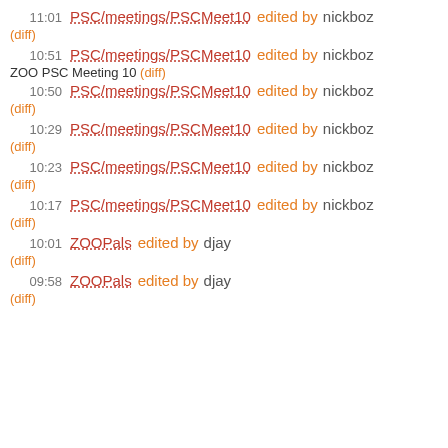11:01 PSC/meetings/PSCMeet10 edited by nickboz
(diff)
10:51 PSC/meetings/PSCMeet10 edited by nickboz
ZOO PSC Meeting 10 (diff)
10:50 PSC/meetings/PSCMeet10 edited by nickboz
(diff)
10:29 PSC/meetings/PSCMeet10 edited by nickboz
(diff)
10:23 PSC/meetings/PSCMeet10 edited by nickboz
(diff)
10:17 PSC/meetings/PSCMeet10 edited by nickboz
(diff)
10:01 ZOOPals edited by djay
(diff)
09:58 ZOOPals edited by djay
(diff)